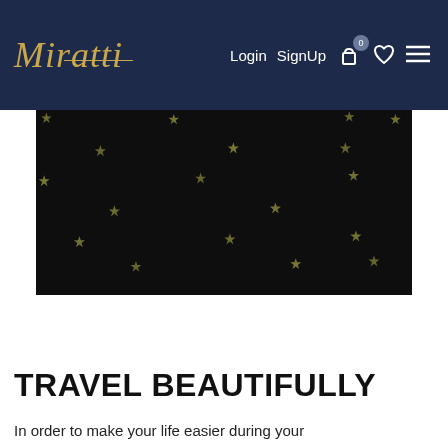Miratti — Login SignUp [cart 0] [wishlist] [menu]
[Figure (photo): Dark black fabric with scattered small gold/olive star embroidery pattern]
TRAVEL BEAUTIFULLY
In order to make your life easier during your